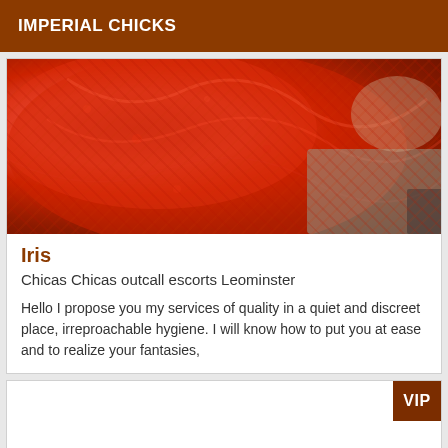IMPERIAL CHICKS
[Figure (photo): Close-up photo of a person in red lace lingerie lying on a light blue bed surface]
Iris
Chicas Chicas outcall escorts Leominster
Hello I propose you my services of quality in a quiet and discreet place, irreproachable hygiene. I will know how to put you at ease and to realize your fantasies,